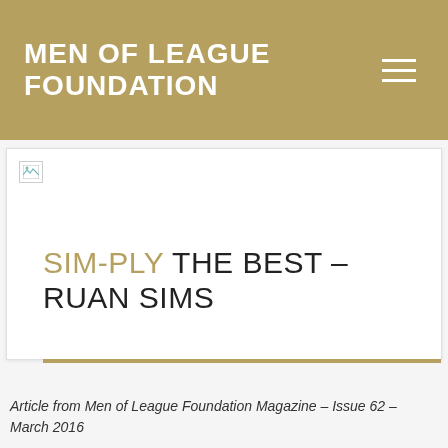MEN OF LEAGUE FOUNDATION
[Figure (illustration): Broken image placeholder thumbnail in top-left of white content card]
SIM-PLY THE BEST – RUAN SIMS
Article from Men of League Foundation Magazine – Issue 62 – March 2016